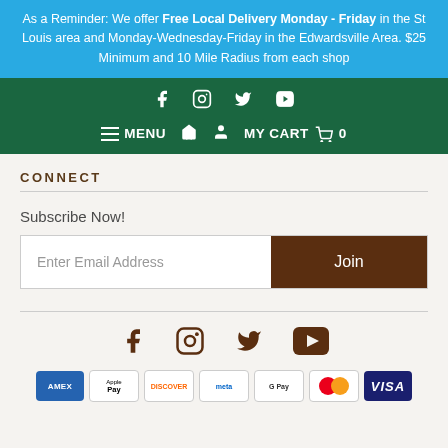As a Reminder: We offer Free Local Delivery Monday - Friday in the St Louis area and Monday-Wednesday-Friday in the Edwardsville Area. $25 Minimum and 10 Mile Radius from each shop
Navigation bar with social icons (Facebook, Instagram, Twitter, YouTube) and MENU, home, account, MY CART 0
CONNECT
Subscribe Now!
Enter Email Address
Join
[Figure (infographic): Footer social icons: Facebook, Instagram, Twitter, YouTube in brown color]
[Figure (infographic): Payment method icons: AMEX, Apple Pay, Discover, Meta Pay, Google Pay, Mastercard, VISA]